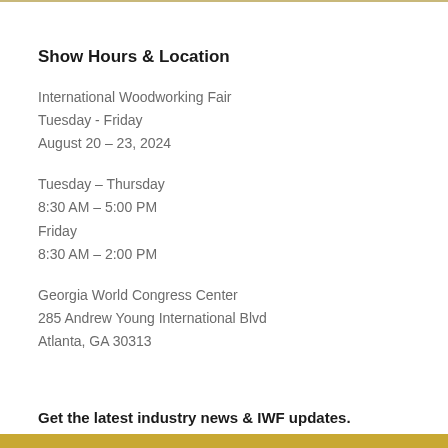Show Hours & Location
International Woodworking Fair
Tuesday - Friday
August 20 – 23, 2024
Tuesday – Thursday
8:30 AM – 5:00 PM
Friday
8:30 AM – 2:00 PM
Georgia World Congress Center
285 Andrew Young International Blvd
Atlanta, GA 30313
Get the latest industry news & IWF updates.